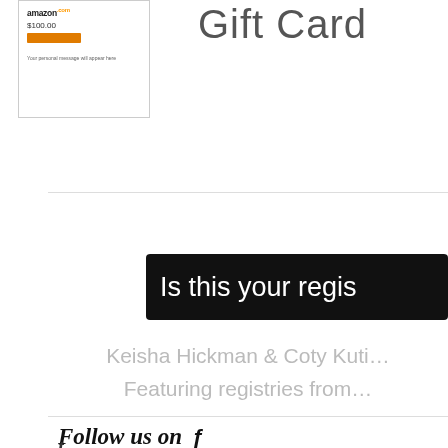[Figure (screenshot): Partial Amazon gift card image showing logo, $100.00 amount, orange bar, and small claim text]
Gift Card
Is this your regis…
Keisha Hickman & Coty Kuti… Featuring registries from…
Follow us on f
t  Amazing Registry
Copyright © 2022 Amazing R…